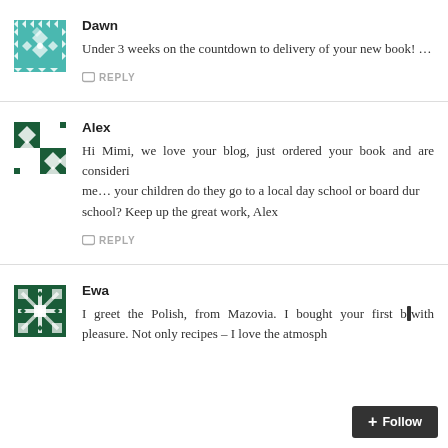[Figure (illustration): Teal/turquoise quilted pattern avatar for user Dawn]
Dawn
Under 3 weeks on the countdown to delivery of your new book! So ex
REPLY
[Figure (illustration): Dark green quilted pattern avatar for user Alex]
Alex
Hi Mimi, we love your blog, just ordered your book and are consideri me… your children do they go to a local day school or board dur school? Keep up the great work, Alex
REPLY
[Figure (illustration): Dark green snowflake/quilt pattern avatar for user Ewa]
Ewa
I greet the Polish, from Mazovia. I bought your first b with pleasure. Not only recipes – I love the atmosph
[Figure (screenshot): Follow button overlay in bottom right corner]